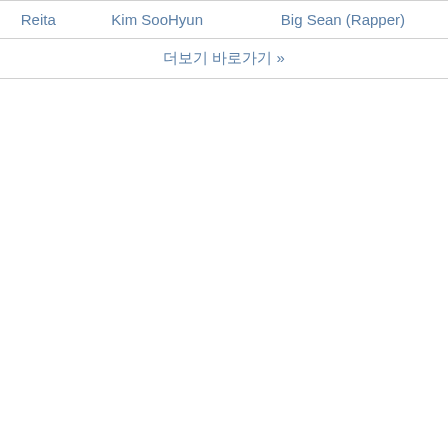| Reita | Kim SooHyun | Big Sean (Rapper) |
| 더보기 바로가기 >> |  |  |